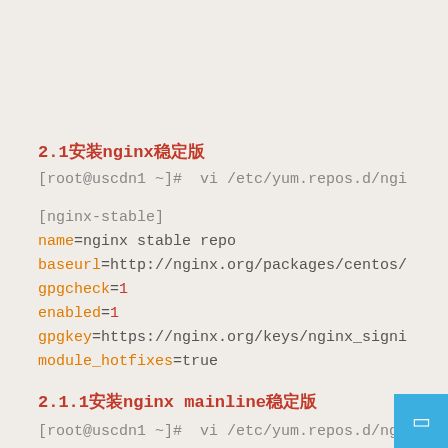2.1安装nginx稳定版
[root@uscdn1 ~]#  vi /etc/yum.repos.d/ngi
[nginx-stable]
name=nginx stable repo
baseurl=http://nginx.org/packages/centos/
gpgcheck=1
enabled=1
gpgkey=https://nginx.org/keys/nginx_signi
module_hotfixes=true
2.1.1安装nginx mainline稳定版
[root@uscdn1 ~]#  vi /etc/yum.repos.d/ngi
[nginx-mainline]